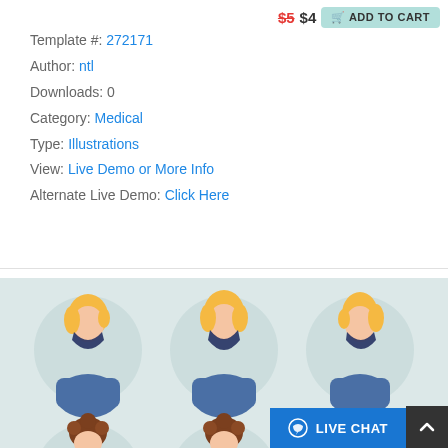Template #: 272171
Author: ntl
Downloads: 0
Category: Medical
Type: Illustrations
View: Live Demo or More Info
Alternate Live Demo: Click Here
[Figure (illustration): Three illustrated figures wearing blue face masks and blue tops, shown from front-left, front, and front-right angles, with blonde hair, on a light blue-grey background with circular grey backdrop elements. Partially visible bottom row with curly-haired figures.]